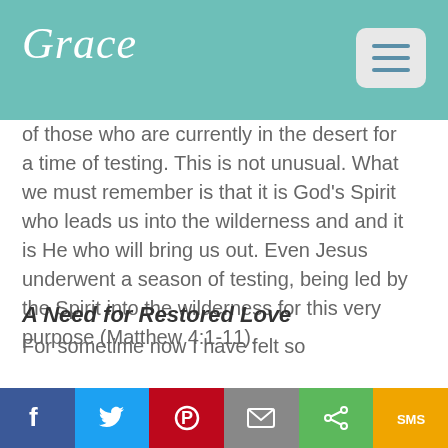Grace
of those who are currently in the desert for a time of testing. This is not unusual. What we must remember is that it is God's Spirit who leads us into the wilderness and and it is He who will bring us out. Even Jesus underwent a season of testing, being led by the Spirit into the wilderness for this very purpose (Matthew 4:1-11).
A Need for Restored Love
For sometime now I have felt so
f  [twitter]  [pinterest]  [email]  [share]  SMS